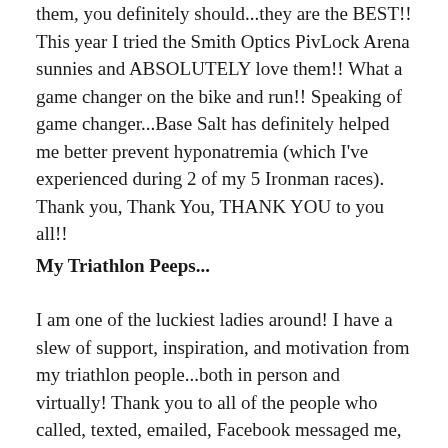them, you definitely should...they are the BEST!! This year I tried the Smith Optics PivLock Arena sunnies and ABSOLUTELY love them!! What a game changer on the bike and run!! Speaking of game changer...Base Salt has definitely helped me better prevent hyponatremia (which I've experienced during 2 of my 5 Ironman races). Thank you, Thank You, THANK YOU to you all!!
My Triathlon Peeps...
I am one of the luckiest ladies around! I have a slew of support, inspiration, and motivation from my triathlon people...both in person and virtually! Thank you to all of the people who called, texted, emailed, Facebook messaged me, tweeted me, commented on my blog posts, commented on my Instagram pictures and tracked my progress both while training and on race